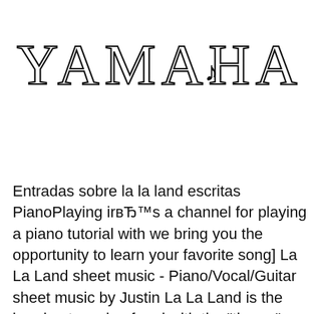[Figure (illustration): Decorative cursive/calligraphic text logo reading 'YAMAHA KUN' with ornate lettering and a musical treble clef symbol incorporated into the K]
Entradas sobre la la land escritas PianoPlaying irвЂ™s a channel for playing a piano tutorial with we bring you the opportunity to learn your favorite song] La La Land sheet music - Piano/Vocal/Guitar sheet music by Justin La La Land is the breakout movie of and with the "theme" song of the two main